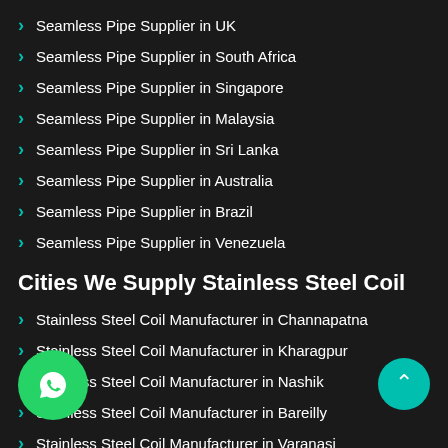Seamless Pipe Supplier in UK
Seamless Pipe Supplier in South Africa
Seamless Pipe Supplier in Singapore
Seamless Pipe Supplier in Malaysia
Seamless Pipe Supplier in Sri Lanka
Seamless Pipe Supplier in Australia
Seamless Pipe Supplier in Brazil
Seamless Pipe Supplier in Venezuela
Cities We Supply Stainless Steel Coil
Stainless Steel Coil Manufacturer in Channapatna
Stainless Steel Coil Manufacturer in Kharagpur
Stainless Steel Coil Manufacturer in Nashik
Stainless Steel Coil Manufacturer in Bareilly
Stainless Steel Coil Manufacturer in Varanasi